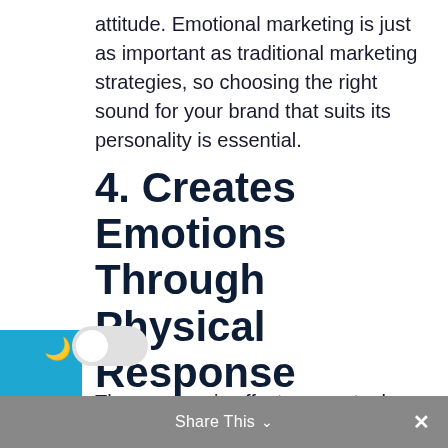attitude. Emotional marketing is just as important as traditional marketing strategies, so choosing the right sound for your brand that suits its personality is essential.
4. Creates Emotions Through Physical Response
The way music affects our actual ear's anatomy can evoke emotional responses to it. Sounds should be meaningful, and they do not have to be unnecessarily loud and boisterous to
Share This